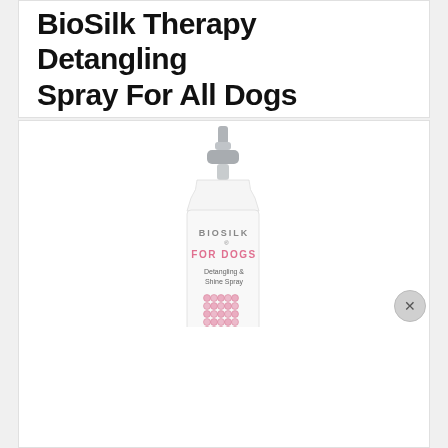BioSilk Therapy Detangling Spray For All Dogs
[Figure (photo): BioSilk For Dogs Detangling & Shine Spray bottle — white pump spray bottle with silver pump top, pink rhinestone decoration on the label, text reading BIOSILK FOR DOGS Detangling & Shine Spray on the label, partially reflected/mirrored at bottom showing the bottom of the bottle with label text Bio Therapy and Made in USA.]